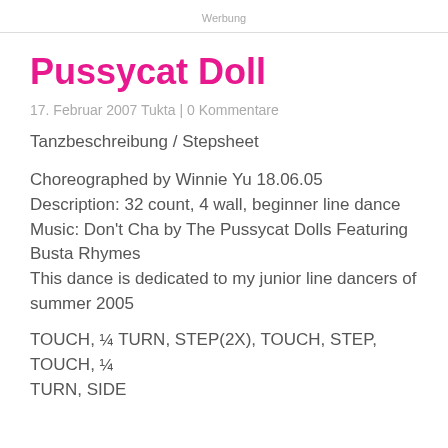Werbung
Pussycat Doll
17. Februar 2007 Tukta | 0 Kommentare
Tanzbeschreibung / Stepsheet
Choreographed by Winnie Yu 18.06.05
Description: 32 count, 4 wall, beginner line dance
Music: Don't Cha by The Pussycat Dolls Featuring Busta Rhymes
This dance is dedicated to my junior line dancers of summer 2005
TOUCH, ¼ TURN, STEP(2X), TOUCH, STEP, TOUCH, ¼ TURN, SIDE